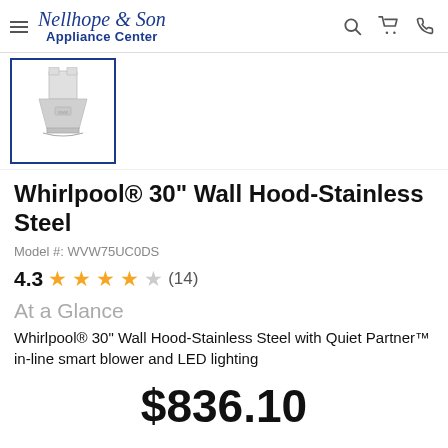Nellhope & Son Appliance Center
[Figure (photo): Whirlpool wall hood range hood product thumbnail image, stainless steel, shown in a bordered thumbnail box]
Whirlpool® 30" Wall Hood-Stainless Steel
Model #: WVW75UC0DS
4.3 ★★★★☆ (14)
At a Glance
Whirlpool® 30" Wall Hood-Stainless Steel with Quiet Partner™ in-line smart blower and LED lighting
$836.10